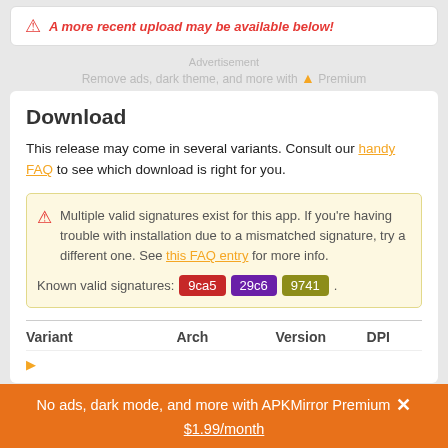A more recent upload may be available below!
Advertisement
Remove ads, dark theme, and more with ▲ Premium
Download
This release may come in several variants. Consult our handy FAQ to see which download is right for you.
Multiple valid signatures exist for this app. If you're having trouble with installation due to a mismatched signature, try a different one. See this FAQ entry for more info.
Known valid signatures: 9ca5 29c6 9741 .
| Variant | Arch | Version | DPI |
| --- | --- | --- | --- |
No ads, dark mode, and more with APKMirror Premium × $1.99/month